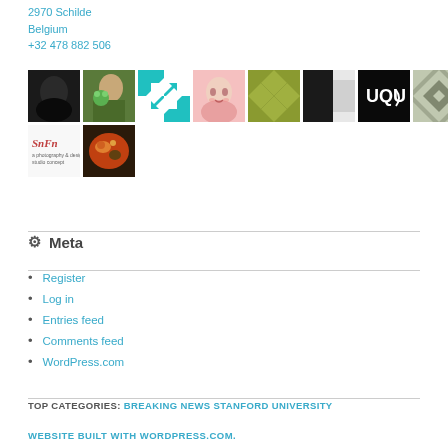2970 Schilde
Belgium
+32 478 882 506
[Figure (photo): Grid of 10 avatar/profile images in two rows]
⚙ Meta
Register
Log in
Entries feed
Comments feed
WordPress.com
TOP CATEGORIES: BREAKING NEWS STANFORD UNIVERSITY
WEBSITE BUILT WITH WORDPRESS.COM.